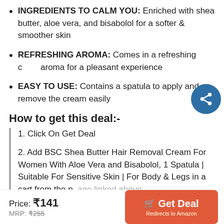INGREDIENTS TO CALM YOU: Enriched with shea butter, aloe vera, and bisabolol for a softer & smoother skin
REFRESHING AROMA: Comes in a refreshing c... aroma for a pleasant experience
EASY TO USE: Contains a spatula to apply and remove the cream easily
How to get this deal:-
1. Click On Get Deal
2. Add BSC Shea Butter Hair Removal Cream For Women With Aloe Vera and Bisabolol, 1 Spatula | Suitable For Sensitive Skin | For Body & Legs in a cart from the page linked above.
3. Select your preferred payment method...
Price: ₹141  MRP: ₹255
Get Deal — Redirects to Amazon